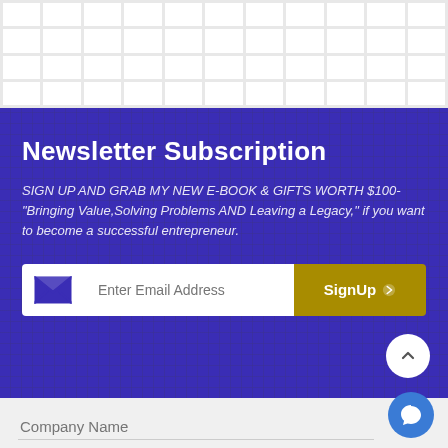[Figure (other): Grid of white squares on light gray background forming a decorative top banner]
Newsletter Subscription
SIGN UP AND GRAB MY NEW E-BOOK & GIFTS WORTH $100- "Bringing Value,Solving Problems AND Leaving a Legacy," if you want to become a successful entrepreneur.
[Figure (other): Email signup form with envelope icon, email address input field, and gold SignUp button with arrow]
Company Name